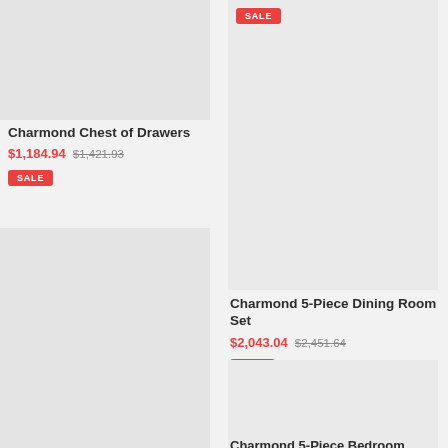[Figure (photo): Product image for Charmond Chest of Drawers, partially cropped at top]
Charmond Chest of Drawers
$1,184.94  $1,421.93
SALE
[Figure (photo): Product image for Charmond 5-Piece Dining Room Set with SALE badge, tall image]
Charmond 5-Piece Dining Room Set
$2,043.04  $2,451.64
SALE
[Figure (photo): Large product image (no title visible), middle-left]
[Figure (photo): Product image bottom-left, partially shown]
Charmond 5-Piece Bedroom
[Figure (photo): Product image bottom-right, partially shown]